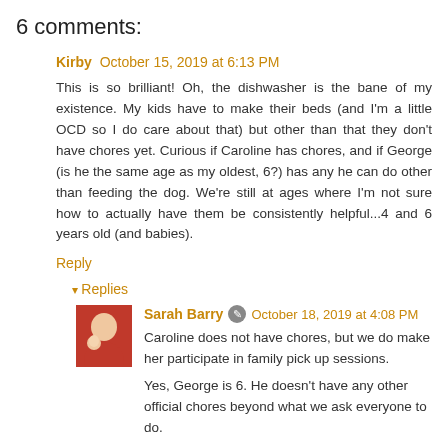6 comments:
Kirby October 15, 2019 at 6:13 PM
This is so brilliant! Oh, the dishwasher is the bane of my existence. My kids have to make their beds (and I'm a little OCD so I do care about that) but other than that they don't have chores yet. Curious if Caroline has chores, and if George (is he the same age as my oldest, 6?) has any he can do other than feeding the dog. We're still at ages where I'm not sure how to actually have them be consistently helpful...4 and 6 years old (and babies).
Reply
Replies
Sarah Barry October 18, 2019 at 4:08 PM
Caroline does not have chores, but we do make her participate in family pick up sessions.
Yes, George is 6. He doesn't have any other official chores beyond what we ask everyone to do.